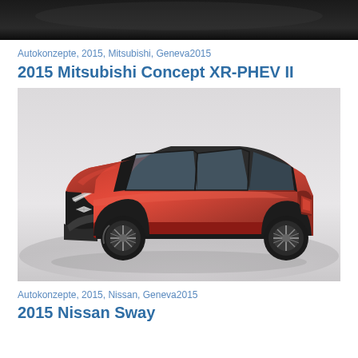[Figure (photo): Dark/black top portion of a previous car image, cropped at top of page]
Autokonzepte, 2015, Mitsubishi, Geneva2015
2015 Mitsubishi Concept XR-PHEV II
[Figure (photo): Red Mitsubishi Concept XR-PHEV II SUV concept car on light grey background, three-quarter front view]
Autokonzepte, 2015, Nissan, Geneva2015
2015 Nissan Sway